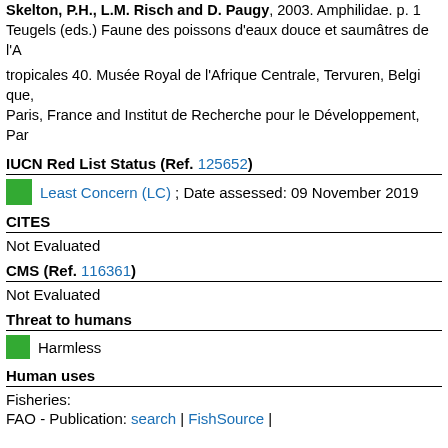Skelton, P.H., L.M. Risch and D. Paugy, 2003. Amphilidae. p. 1... Teugels (eds.) Faune des poissons d'eaux douce et saumâtres de l'A... tropicales 40. Musée Royal de l'Afrique Centrale, Tervuren, Belgiq... Paris, France and Institut de Recherche pour le Développement, Pa...
IUCN Red List Status (Ref. 125652)
Least Concern (LC) ; Date assessed: 09 November 2019
CITES
Not Evaluated
CMS (Ref. 116361)
Not Evaluated
Threat to humans
Harmless
Human uses
Fisheries:
FAO - Publication: search | FishSource |